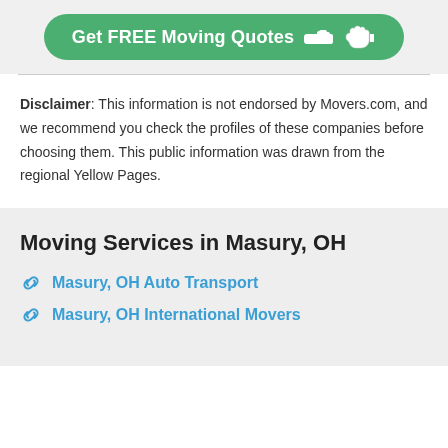[Figure (other): Green rounded button with white bold text 'Get FREE Moving Quotes' and a pointing hand icon]
Disclaimer: This information is not endorsed by Movers.com, and we recommend you check the profiles of these companies before choosing them. This public information was drawn from the regional Yellow Pages.
Moving Services in Masury, OH
Masury, OH Auto Transport
Masury, OH International Movers